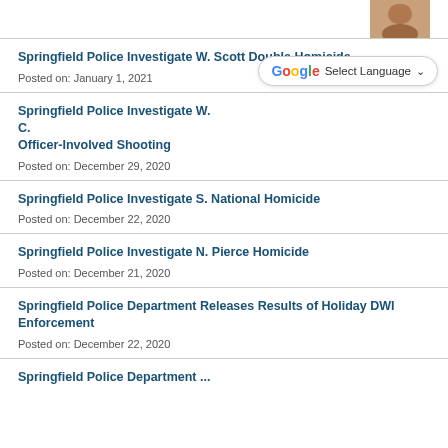[Figure (photo): Small thumbnail photo of a person in upper right corner]
Springfield Police Investigate W. Scott Double Homicide
Posted on: January 1, 2021
Springfield Police Investigate W. C. Officer-Involved Shooting
Posted on: December 29, 2020
Springfield Police Investigate S. National Homicide
Posted on: December 22, 2020
Springfield Police Investigate N. Pierce Homicide
Posted on: December 21, 2020
Springfield Police Department Releases Results of Holiday DWI Enforcement
Posted on: December 22, 2020
Springfield Police Department ...